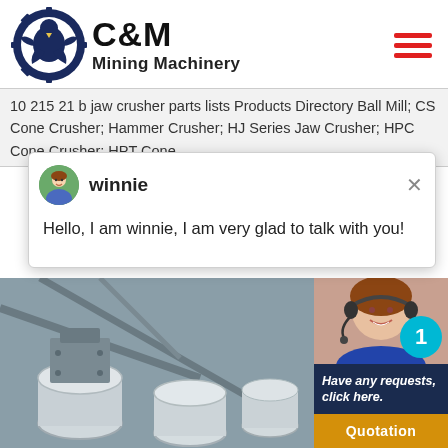[Figure (logo): C&M Mining Machinery logo with eagle/gear emblem]
10 215 21 b jaw crusher parts lists Products Directory Ball Mill; CS Cone Crusher; Hammer Crusher; HJ Series Jaw Crusher; HPC Cone Crusher; HPT Cone...
[Figure (screenshot): Chat popup with agent named 'winnie' saying: Hello, I am winnie, I am very glad to talk with you!]
[Figure (photo): Mining machinery equipment photo showing cone crusher parts]
[Figure (photo): Customer service agent photo with headset and notification badge showing 1]
Have any requests, click here.
Quotation